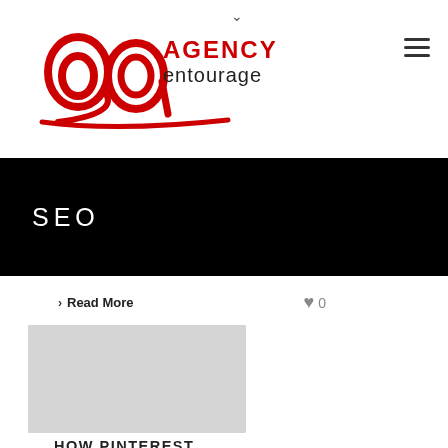[Figure (logo): Agency Entourage logo with red stylized 'ae' letters and text 'AGENCY entourage']
SEO
> Read More
♥ 0
[Figure (photo): Light gray image placeholder thumbnail]
HOW PINTEREST